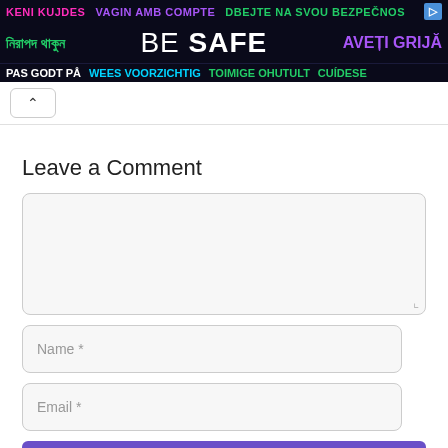[Figure (other): Multilingual 'BE SAFE' banner advertisement with colorful text in multiple languages on dark navy background. Row 1: 'KENI KUJDES' (pink), 'VAGIN AMB COMPTE' (purple), 'DBEJTE NA SVOU BEZPEČNOS' (green). Row 2: Bengali text (green), 'BE SAFE' (white large), 'AVEȚI GRIJĂ' (purple). Row 3: 'PAS GODT PÅ' (white), 'WEES VOORZICHTIG' (cyan), 'TOIMIGE OHUTULT' (green), 'CUÍDESE' (green).]
^
Leave a Comment
Name *
Email *